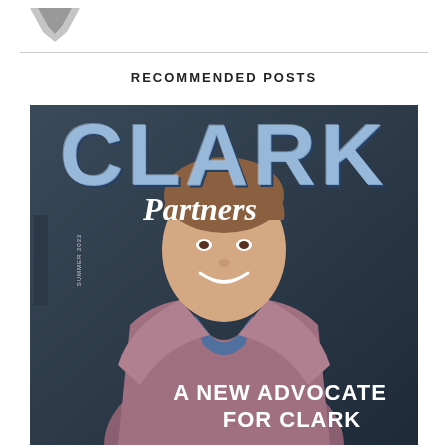[Figure (logo): Small logo graphic at top left, appears to be a downward pointing arrow/chevron shape in gray tones]
RECOMMENDED POSTS
[Figure (photo): Magazine cover of Clark Partners, Summer 2022 issue. Features a smiling man in a mauve/burgundy blazer over a blue shirt, photographed against a dark blue-gray background. Large text 'CLARK' at top in blue 3D letters, 'Partners' in white script below. Bottom text reads 'A NEW ADVOCATE FOR CLARK'.]